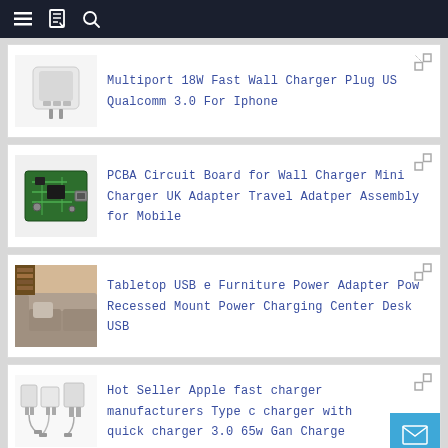Navigation bar with menu, bookmark, and search icons
Multiport 18W Fast Wall Charger Plug US Qualcomm 3.0 For Iphone
PCBA Circuit Board for Wall Charger Mini Charger UK Adapter Travel Adatper Assembly for Mobile
Tabletop USB e Furniture Power Adapter Pow Recessed Mount Power Charging Center Desk USB
Hot Seller Apple fast charger manufacturers Type c charger with quick charger 3.0 65w Gan Charge